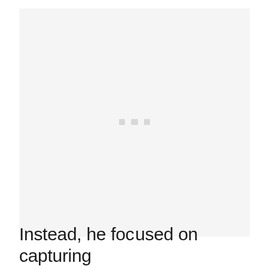[Figure (photo): Large nearly blank light gray image area with three faint small square dots visible in the center, suggesting a loading or placeholder image.]
Instead, he focused on capturing